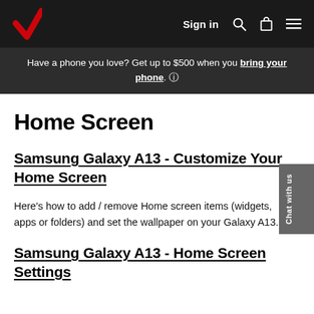Sign in
Have a phone you love? Get up to $500 when you bring your phone. (i)
Home Screen
Samsung Galaxy A13 - Customize Your Home Screen
Here's how to add / remove Home screen items (widgets, apps or folders) and set the wallpaper on your Galaxy A13.
Samsung Galaxy A13 - Home Screen Settings